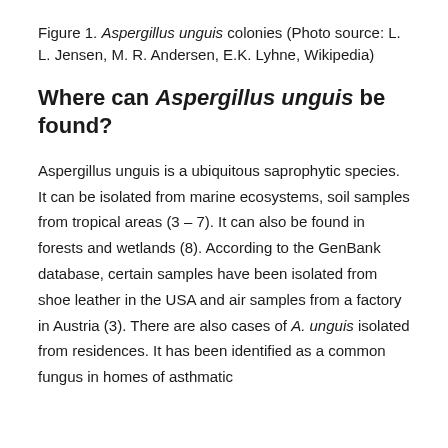Figure 1. Aspergillus unguis colonies (Photo source: L. L. Jensen, M. R. Andersen, E.K. Lyhne, Wikipedia)
Where can Aspergillus unguis be found?
Aspergillus unguis is a ubiquitous saprophytic species. It can be isolated from marine ecosystems, soil samples from tropical areas (3 – 7). It can also be found in forests and wetlands (8). According to the GenBank database, certain samples have been isolated from shoe leather in the USA and air samples from a factory in Austria (3). There are also cases of A. unguis isolated from residences. It has been identified as a common fungus in homes of asthmatic